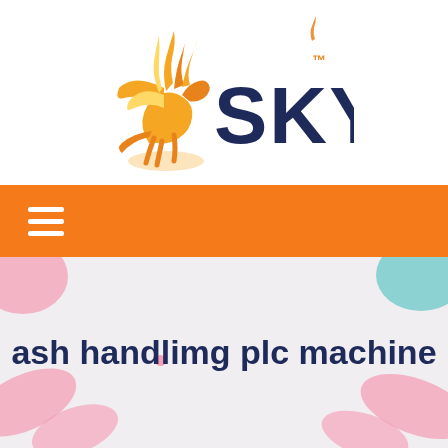[Figure (logo): SKY company logo with a flaming Pegasus horse in orange/yellow flames on the left, and 'SKY' text in dark navy blue with a small flame superscript on the right]
[Figure (infographic): Orange navigation bar with white hamburger menu icon (three horizontal lines) on the left]
ash handlimg plc machine